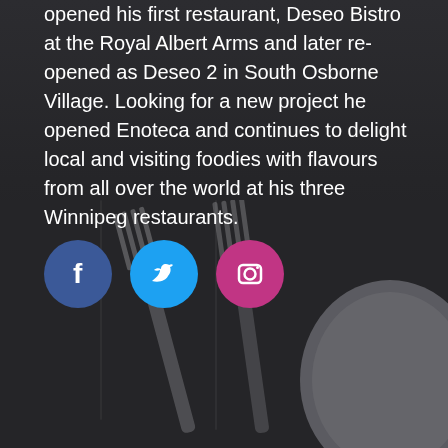opened his first restaurant, Deseo Bistro at the Royal Albert Arms and later re-opened as Deseo 2 in South Osborne Village. Looking for a new project he opened Enoteca and continues to delight local and visiting foodies with flavours from all over the world at his three Winnipeg restaurants.
[Figure (illustration): Three social media icons: Facebook (blue circle with f), Twitter (cyan circle with bird), Instagram (magenta circle with camera)]
[Figure (photo): Dark background photo of forks and a plate, monochromatic dark grey tones]